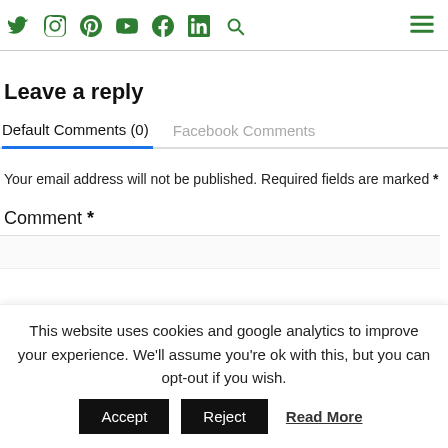Social media icons: Twitter, Instagram, Pinterest, YouTube, Facebook, LinkedIn, Search, Menu
Leave a reply
Default Comments (0)   Facebook Comments
Your email address will not be published. Required fields are marked *
Comment *
This website uses cookies and google analytics to improve your experience. We'll assume you're ok with this, but you can opt-out if you wish.  Accept  Reject  Read More